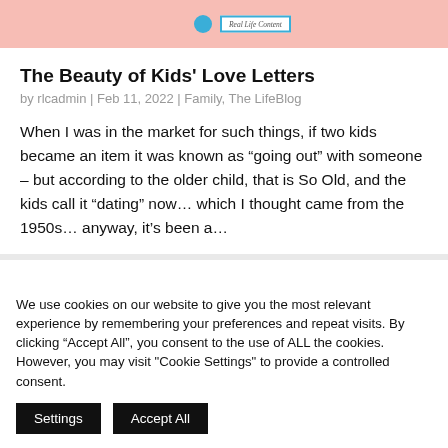[Figure (photo): Top portion of a blog page image showing a pink/peach background with a logo badge containing 'Real Life Content' text and a blue circle element]
The Beauty of Kids' Love Letters
by rlcadmin | Feb 11, 2022 | Family, The LifeBlog
When I was in the market for such things, if two kids became an item it was known as “going out” with someone – but according to the older child, that is So Old, and the kids call it “dating” now… which I thought came from the 1950s… anyway, it’s been a…
We use cookies on our website to give you the most relevant experience by remembering your preferences and repeat visits. By clicking “Accept All”, you consent to the use of ALL the cookies. However, you may visit "Cookie Settings" to provide a controlled consent.
Settings
Accept All